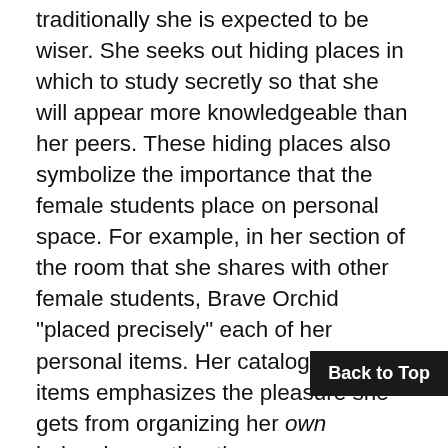traditionally she is expected to be wiser. She seeks out hiding places in which to study secretly so that she will appear more knowledgeable than her peers. These hiding places also symbolize the importance that the female students place on personal space. For example, in her section of the room that she shares with other female students, Brave Orchid "placed precisely" each of her personal items. Her cataloging these items emphasizes the pleasure she gets from organizing her own belongings rather than someone else's: "The locks on her suitcase opened with two satisfying clicks; she enjoyed again how neatly her belongings fitted together, clean against the green lining." Although the "daydream of women — to have a room, even a section of a room, that only gets messed up when she messes it up herself" — seems limited at best, most likely the majority of the female students came from homes headed by either a father or a husband, and these women would have been treated by the male figures as second-class citizens in their own homes. "Free from